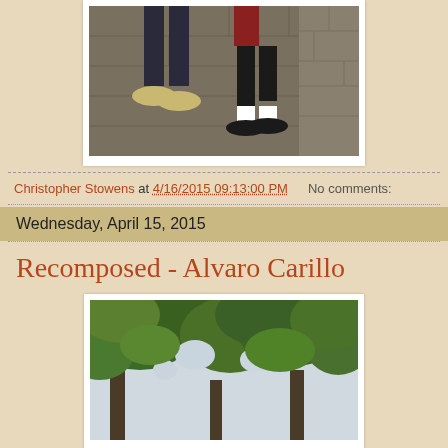[Figure (photo): Photo of two people walking on stone steps, showing their legs and feet from knees down. One person wearing sneakers, the other wearing dress shoes with white socks.]
Christopher Stowens at 4/16/2015 09:13:00 PM    No comments:
Wednesday, April 15, 2015
Recomposed - Alvaro Carillo
[Figure (photo): Photo of tree branches with green foliage against a light sky, looking upward through the canopy.]